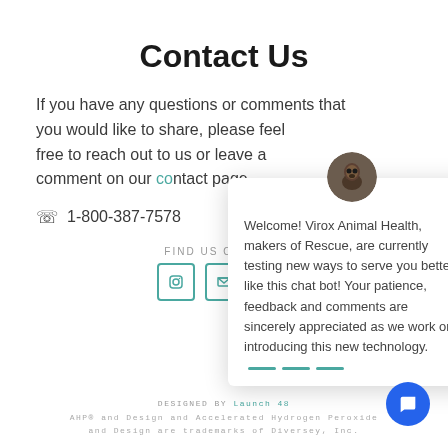Contact Us
If you have any questions or comments that you would like to share, please feel free to reach out to us or leave a comment on our contact page.
📞 1-800-387-7578
FIND US ON YOUR
[Figure (screenshot): Chat popup overlay with animal avatar, close button (×), and message: Welcome! Virox Animal Health, makers of Rescue, are currently testing new ways to serve you better, like this chat bot! Your patience, feedback and comments are sincerely appreciated as we work on introducing this new technology.]
DESIGNED BY Launch 48
AHP® and Design and Accelerated Hydrogen Peroxide and Design are trademarks of Diversey, Inc.